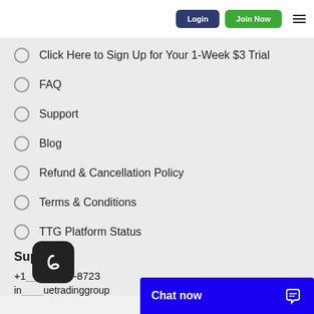Login | Join Now
Click Here to Sign Up for Your 1-Week $3 Trial
FAQ
Support
Blog
Refund & Cancellation Policy
Terms & Conditions
TTG Platform Status
Support:
+1(___) 878-8723
in___uetradinggroup